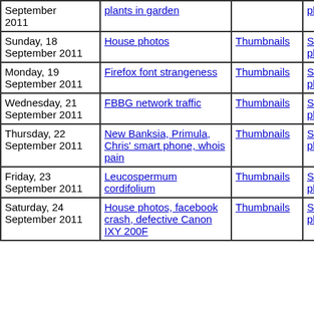| Date | Title | Thumbnails | Small photos | diary |
| --- | --- | --- | --- | --- |
| September 2011 | plants in garden | Thumbnails | Small photos | diary |
| Sunday, 18 September 2011 | House photos | Thumbnails | Small photos | diary |
| Monday, 19 September 2011 | Firefox font strangeness | Thumbnails | Small photos | diary |
| Wednesday, 21 September 2011 | FBBG network traffic | Thumbnails | Small photos | diary |
| Thursday, 22 September 2011 | New Banksia, Primula, Chris' smart phone, whois pain | Thumbnails | Small photos | diary |
| Friday, 23 September 2011 | Leucospermum cordifolium | Thumbnails | Small photos | diary |
| Saturday, 24 September 2011 | House photos, facebook crash, defective Canon IXY 200F | Thumbnails | Small photos | diary |